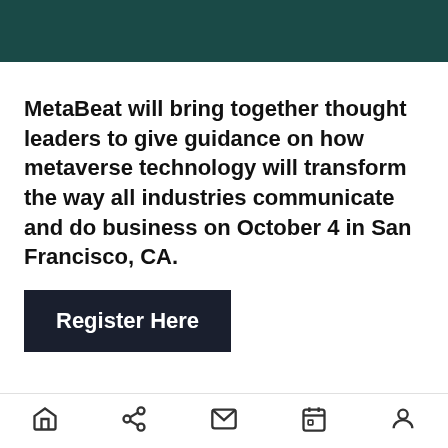MetaBeat will bring together thought leaders to give guidance on how metaverse technology will transform the way all industries communicate and do business on October 4 in San Francisco, CA.
Register Here
He said that previous investors Y Combinator, Trucks.vc, 50 Years, 9Point Ventures, and others also invested in the round.